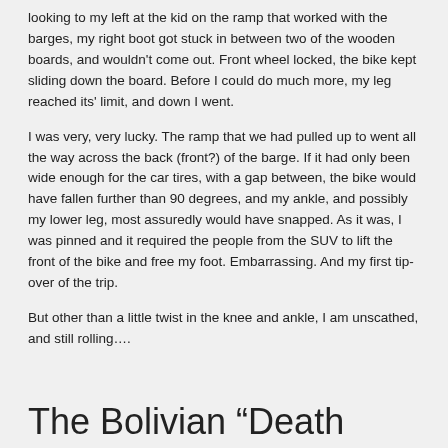looking to my left at the kid on the ramp that worked with the barges, my right boot got stuck in between two of the wooden boards, and wouldn't come out. Front wheel locked, the bike kept sliding down the board. Before I could do much more, my leg reached its' limit, and down I went.
I was very, very lucky. The ramp that we had pulled up to went all the way across the back (front?) of the barge. If it had only been wide enough for the car tires, with a gap between, the bike would have fallen further than 90 degrees, and my ankle, and possibly my lower leg, most assuredly would have snapped. As it was, I was pinned and it required the people from the SUV to lift the front of the bike and free my foot. Embarrassing. And my first tip-over of the trip.
But other than a little twist in the knee and ankle, I am unscathed, and still rolling….
The Bolivian “Death Road”
January 16, 2016